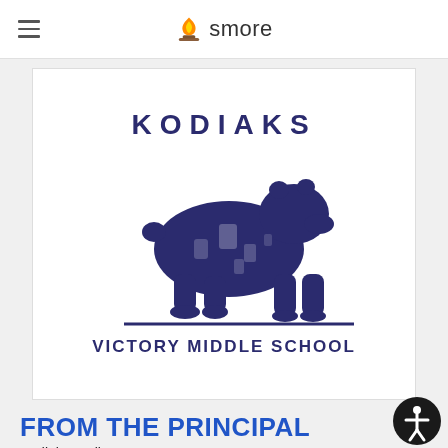smore
[Figure (logo): Kodiak bear illustration with 'KODIAKS' arched text above and 'VICTORY MIDDLE SCHOOL' below, in dark navy blue on white background]
FROM THE PRINCIPAL
Kodiak Family,